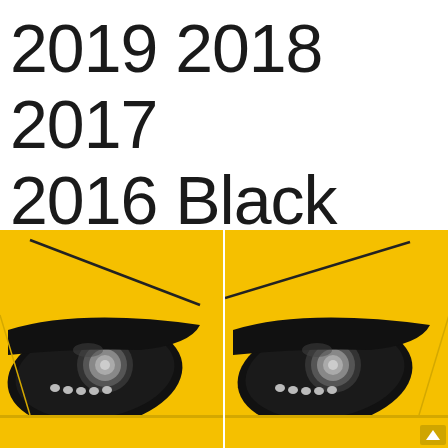2019 2018 2017 2016 Black 2PCS
[Figure (photo): Two side-by-side photos of yellow car (Subaru BRZ/Toyota 86) headlights with black headlight eyebrow trim/eyelid covers installed, showing the same headlight from slightly different angles on a yellow vehicle.]